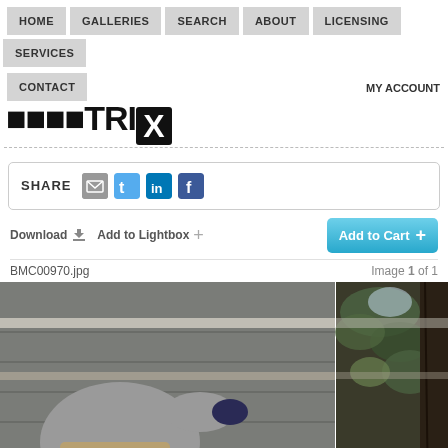HOME  GALLERIES  SEARCH  ABOUT  LICENSING  SERVICES  CONTACT  MY ACCOUNT
MATRIX
SHARE
Download   Add to Lightbox   Add to Cart
BMC00970.jpg   Image 1 of 1
[Figure (photo): Worker in gray hoodie and khaki pants working on exterior siding or construction on a building; split image with foliage visible on the right side]